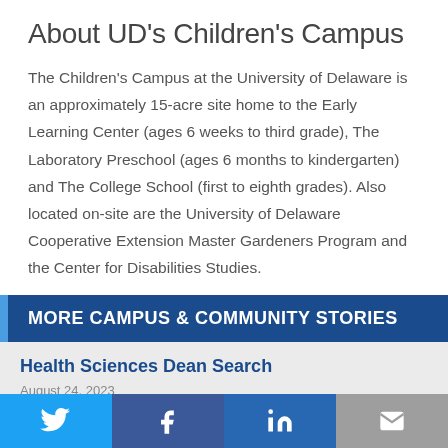About UD's Children's Campus
The Children's Campus at the University of Delaware is an approximately 15-acre site home to the Early Learning Center (ages 6 weeks to third grade), The Laboratory Preschool (ages 6 months to kindergarten) and The College School (first to eighth grades). Also located on-site are the University of Delaware Cooperative Extension Master Gardeners Program and the Center for Disabilities Studies.
MORE CAMPUS & COMMUNITY STORIES
Health Sciences Dean Search
Twitter | Facebook | LinkedIn | Email